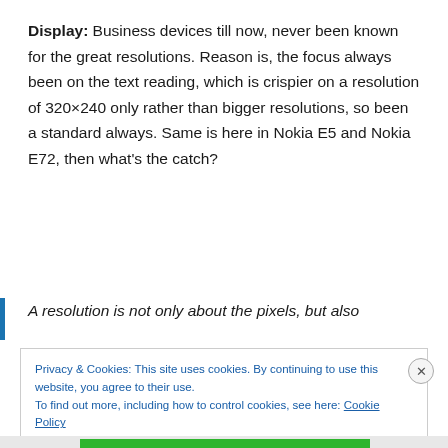Display: Business devices till now, never been known for the great resolutions. Reason is, the focus always been on the text reading, which is crispier on a resolution of 320×240 only rather than bigger resolutions, so been a standard always. Same is here in Nokia E5 and Nokia E72, then what's the catch?
A resolution is not only about the pixels, but also
Privacy & Cookies: This site uses cookies. By continuing to use this website, you agree to their use.
To find out more, including how to control cookies, see here: Cookie Policy